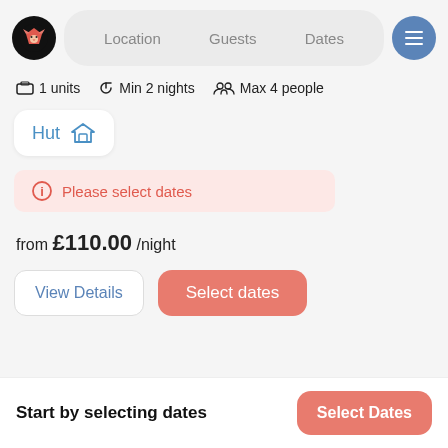[Figure (screenshot): App header with logo, navigation pill (Location, Guests, Dates), and menu button]
1 units   Min 2 nights   Max 4 people
Hut
Please select dates
from £110.00 /night
View Details
Select dates
Start by selecting dates
Select Dates